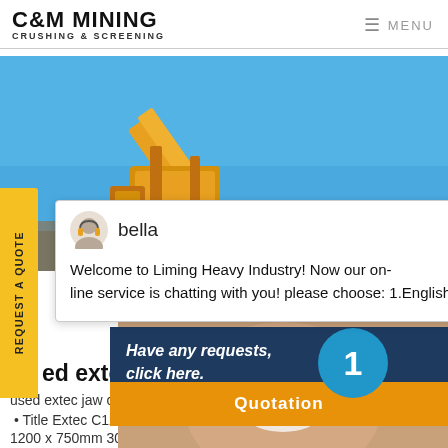C&M MINING CRUSHING & SCREENING | MENU
[Figure (photo): Yellow mining crusher machine against blue sky, C&M Mining branded equipment on site]
REQUEST A QUOTE
bella
Welcome to Liming Heavy Industry! Now our on-line service is chatting with you! please choose: 1.English
Have any requests, click here.
Quotation
ed extec jaw crusher for sa
used extec jaw crusher for sale in
· Title Extec C12 Used Extec C12 fo
1200 x 750mm 300rpm crusher sp